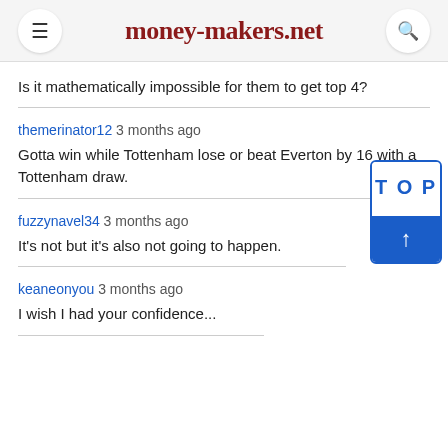money-makers.net
Is it mathematically impossible for them to get top 4?
themerinator12 3 months ago
Gotta win while Tottenham lose or beat Everton by 16 with a Tottenham draw.
fuzzynavel34 3 months ago
It's not but it's also not going to happen.
keaneonyou 3 months ago
I wish I had your confidence...